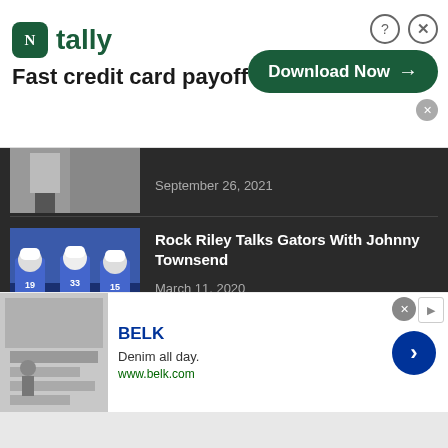[Figure (screenshot): Tally app advertisement banner: 'Fast credit card payoff' with Download Now button]
[Figure (photo): Truncated news article thumbnail showing a man in suit, dated September 26, 2021]
[Figure (photo): Football players in blue uniforms with numbers 19, 33, 15]
Rock Riley Talks Gators With Johnny Townsend
March 11, 2020
[Figure (logo): SPORTS logo with red circular O]
[Figure (screenshot): BELK advertisement: Denim all day. www.belk.com]